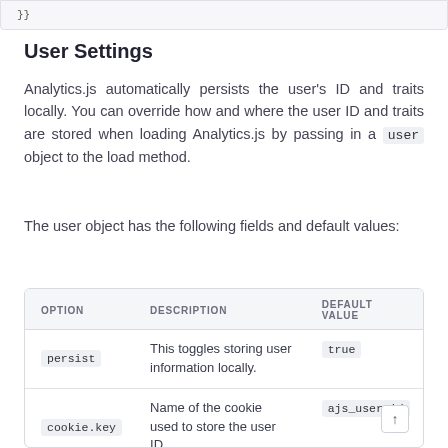}}
User Settings
Analytics.js automatically persists the user's ID and traits locally. You can override how and where the user ID and traits are stored when loading Analytics.js by passing in a user object to the load method.
The user object has the following fields and default values:
| OPTION | DESCRIPTION | DEFAULT VALUE |
| --- | --- | --- |
| persist | This toggles storing user information locally. | true |
| cookie.key | Name of the cookie used to store the user ID. | ajs_user_id |